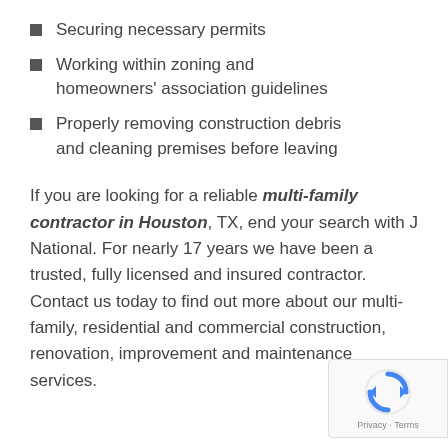Securing necessary permits
Working within zoning and homeowners' association guidelines
Properly removing construction debris and cleaning premises before leaving
If you are looking for a reliable multi-family contractor in Houston, TX, end your search with J National. For nearly 17 years we have been a trusted, fully licensed and insured contractor. Contact us today to find out more about our multi-family, residential and commercial construction, renovation, improvement and maintenance services.
[Figure (logo): reCAPTCHA badge with spinning arrows logo and Privacy · Terms text]